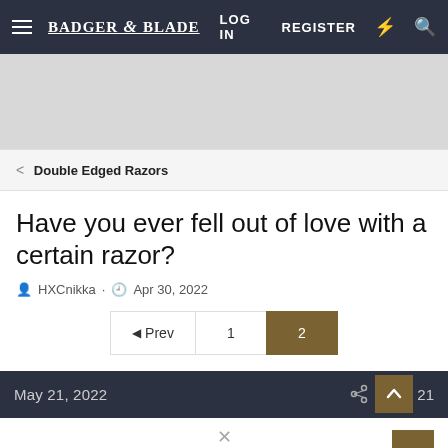Badger & Blade  LOG IN  REGISTER
[Figure (other): Gray advertisement banner placeholder]
< Double Edged Razors
Have you ever fell out of love with a certain razor?
HXCnikka · Apr 30, 2022
◄ Prev  1  2
May 21, 2022  21